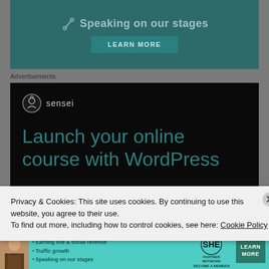[Figure (infographic): Teal banner with microphone icon, text 'Speaking on our stages' and a 'LEARN MORE' button]
Advertisements
[Figure (infographic): Sensei advertisement on black background showing logo with circle icon and text 'Launch your online course with WordPress']
Privacy & Cookies: This site uses cookies. By continuing to use this website, you agree to their use.
To find out more, including how to control cookies, see here: Cookie Policy
[Figure (infographic): SHE Partner Network banner ad with person photo, bullet points: Earning site & social revenue, Traffic growth, Speaking on our stages, SHE logo, and LEARN MORE button]